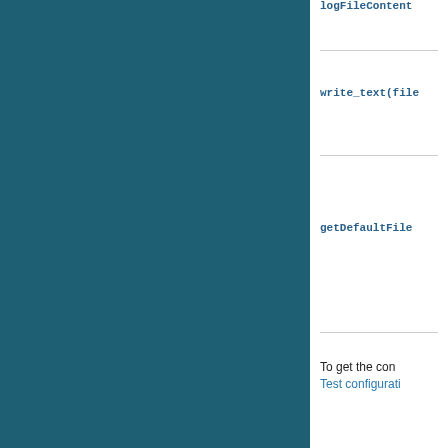logFileContent
write_text(file
getDefaultFile
To get the con
Test configurati